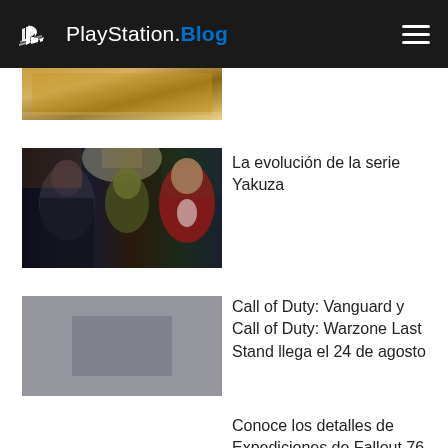PlayStation.Blog
[Figure (screenshot): Partial thumbnail of a game article, cropped at top of content area]
La evolución de la serie Yakuza
[Figure (screenshot): Yakuza series screenshot showing characters in dark urban environments]
Call of Duty: Vanguard y Call of Duty: Warzone Last Stand llega el 24 de agosto
Conoce los detalles de Expediciones de Fallout 76